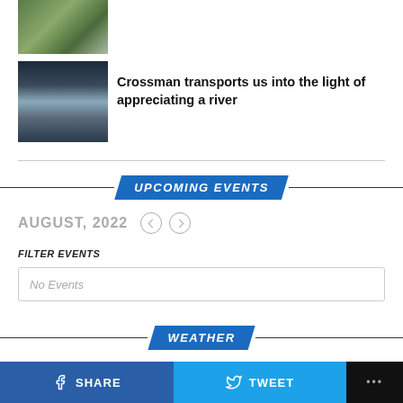[Figure (photo): Mountain scene with people holding an American flag on rocky terrain]
[Figure (photo): Dark silhouette of person standing in or near a misty river with water reflections]
Crossman transports us into the light of appreciating a river
UPCOMING EVENTS
AUGUST, 2022
FILTER EVENTS
No Events
WEATHER
SHARE   TWEET   ...